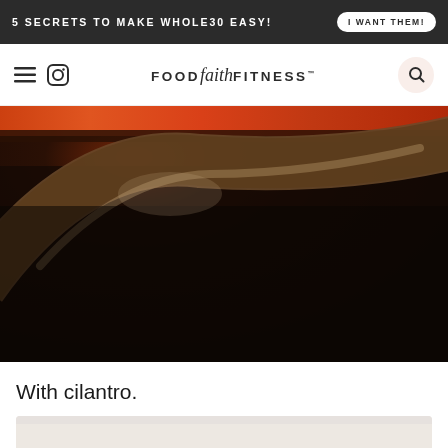5 SECRETS TO MAKE WHOLE30 EASY! | I WANT THEM!
[Figure (logo): Food Faith Fitness website logo with hamburger menu and Instagram icon on left, search icon on right]
[Figure (photo): Close-up dark photo of a spoon in a dark sauce or stew with orange-red food visible at top edge]
With cilantro.
[Figure (photo): Partial view of another food photo at bottom of page]